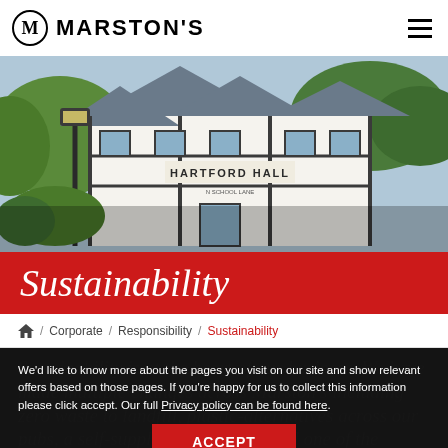MARSTON'S
[Figure (photo): Exterior photo of Hartford Hall pub/restaurant, a white Tudor-style building with dark timber framing, green hedges, and a lamp post in the foreground.]
Sustainability
/ Corporate / Responsibility / Sustainability
We'd like to know more about the pages you visit on our site and show relevant offers based on those pages. If you're happy for us to collect this information please click accept. Our full Privacy policy can be found here.
Sustainability is at the heart of our business. We have made multiple changes across Marston's including zero waste to landfill, plastic-alternatives across our pubs, a self-supply water license and one of the biggest...